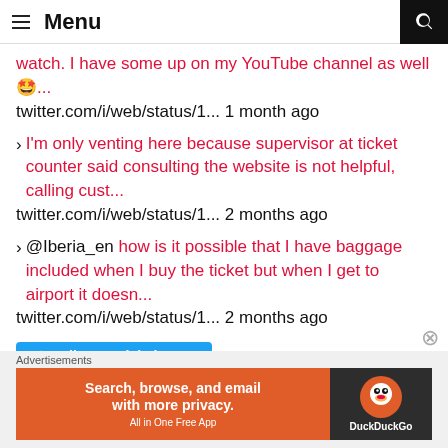Menu
watch. I have some up on my YouTube channel as well 🤩... twitter.com/i/web/status/1... 1 month ago
I'm only venting here because supervisor at ticket counter said consulting the website is not helpful, calling cust... twitter.com/i/web/status/1... 2 months ago
@Iberia_en how is it possible that I have baggage included when I buy the ticket but when I get to airport it doesn... twitter.com/i/web/status/1... 2 months ago
Follow @MicheleLepe
Advertisements
[Figure (infographic): DuckDuckGo advertisement banner: orange left side with text 'Search, browse, and email with more privacy. All in One Free App', dark right side with DuckDuckGo logo]